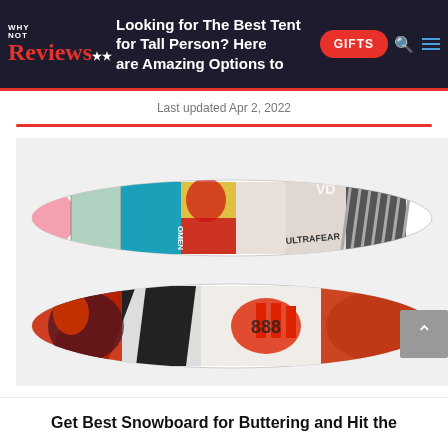Looking for The Best Tent for Tall Person? Here are Amazing Options to … | Why Not Reviews — GIFTS
Last updated Apr 2, 2022
[Figure (photo): Two colorful snowboards shown horizontally — top board has collage-style graphic art with faces, text, bright colors; bottom board has bold black, white, red and orange graphic design.]
Get Best Snowboard for Buttering and Hit the